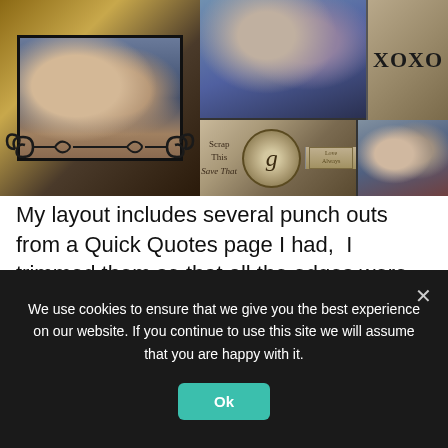[Figure (photo): Scrapbook collage photo layout with couples photos, XOXO text, decorative scrollwork, circular monogram embellishment, and overlaid scrapbooking text]
My layout includes several punch outs from a Quick Quotes page I had,  I trimmed them so that all the edges were clean (no little paper “tabs” from punching them out) and then inked the edges.  I put one little butterfly on top of another and bent the wings up to give them dimension, and then added a little bling on the body of the butterfly.
We use cookies to ensure that we give you the best experience on our website. If you continue to use this site we will assume that you are happy with it.